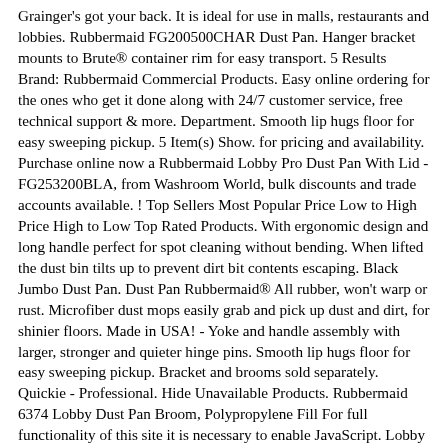Grainger's got your back. It is ideal for use in malls, restaurants and lobbies. Rubbermaid FG200500CHAR Dust Pan. Hanger bracket mounts to Brute® container rim for easy transport. 5 Results Brand: Rubbermaid Commercial Products. Easy online ordering for the ones who get it done along with 24/7 customer service, free technical support & more. Department. Smooth lip hugs floor for easy sweeping pickup. 5 Item(s) Show. for pricing and availability. Purchase online now a Rubbermaid Lobby Pro Dust Pan With Lid - FG253200BLA, from Washroom World, bulk discounts and trade accounts available. ! Top Sellers Most Popular Price Low to High Price High to Low Top Rated Products. With ergonomic design and long handle perfect for spot cleaning without bending. When lifted the dust bin tilts up to prevent dirt bit contents escaping. Black Jumbo Dust Pan. Dust Pan Rubbermaid® All rubber, won't warp or rust. Microfiber dust mops easily grab and pick up dust and dirt, for shinier floors. Made in USA! - Yoke and handle assembly with larger, stronger and quieter hinge pins. Smooth lip hugs floor for easy sweeping pickup. Bracket and brooms sold separately. Quickie - Professional. Hide Unavailable Products. Rubbermaid 6374 Lobby Dust Pan Broom, Polypropylene Fill For full functionality of this site it is necessary to enable JavaScript. Lobby Pro® Deluxe Upright Dust Pan with Cover FG253300 has a stylish pan design with durable rear wheels that improve wear resistance and extend product life. Harper 12 in. Lobby Pro® Deluxe Upright Dust Pan with Cover and Adjustable